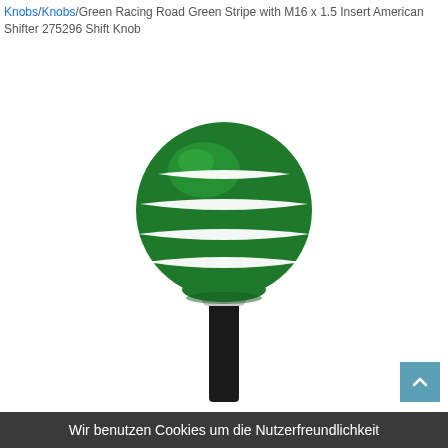Knobs/Knobs/Green Racing Road Green Stripe with M16 x 1.5 Insert American Shifter 275296 Shift Knob
[Figure (photo): A green shift knob with white horizontal racing stripes, mounted on a black shift lever with a chrome collar. The knob is spherical and glossy, photographed on a white background.]
Wir benutzen Cookies um die Nutzerfreundlichkeit